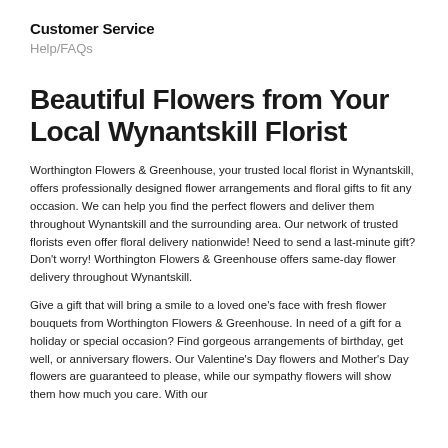Customer Service
Help/FAQs
Beautiful Flowers from Your Local Wynantskill Florist
Worthington Flowers & Greenhouse, your trusted local florist in Wynantskill, offers professionally designed flower arrangements and floral gifts to fit any occasion. We can help you find the perfect flowers and deliver them throughout Wynantskill and the surrounding area. Our network of trusted florists even offer floral delivery nationwide! Need to send a last-minute gift? Don't worry! Worthington Flowers & Greenhouse offers same-day flower delivery throughout Wynantskill.
Give a gift that will bring a smile to a loved one's face with fresh flower bouquets from Worthington Flowers & Greenhouse. In need of a gift for a holiday or special occasion? Find gorgeous arrangements of birthday, get well, or anniversary flowers. Our Valentine's Day flowers and Mother's Day flowers are guaranteed to please, while our sympathy flowers will show them how much you care. With our